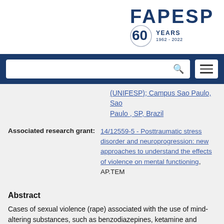[Figure (logo): FAPESP 60 Years 1962-2022 logo in top right of white header bar]
(UNIFESP); Campus Sao Paulo, Sao Paulo , SP, Brazil
Associated research grant: 14/12559-5 - Posttraumatic stress disorder and neuroprogression: new approaches to understand the effects of violence on mental functioning, AP.TEM
Abstract
Cases of sexual violence (rape) associated with the use of mind-altering substances, such as benzodiazepines, ketamine and alkaloids in general associated with alcohol, without the knowledge or consent of the woman, are common. The fact that the violence